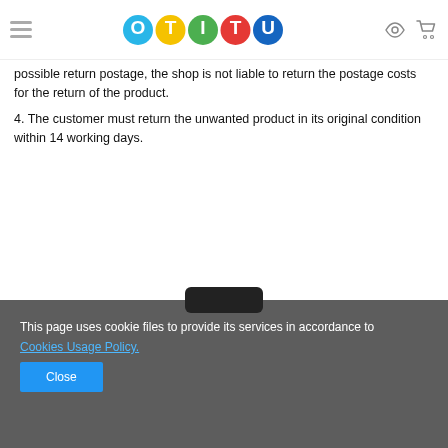OTITU logo with hamburger menu and shopping cart icons
possible return postage, the shop is not liable to return the postage costs for the return of the product.
4. The customer must return the unwanted product in its original condition within 14 working days.
This page uses cookie files to provide its services in accordance to Cookies Usage Policy.
Close